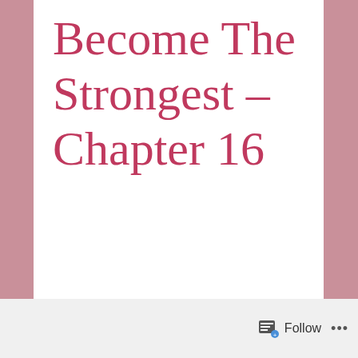Become The Strongest – Chapter 16
[Figure (illustration): Decorative ornamental divider with purple arrow/leaf motifs pointing inward and an orange/gold heart in the center]
Merchant
The next day.
Follow ...